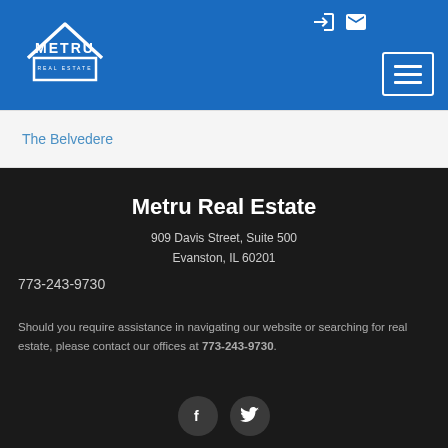[Figure (logo): Metru Real Estate logo — white house outline with METRU text above REAL ESTATE on blue background]
The Belvedere
Metru Real Estate
909 Davis Street, Suite 500
Evanston, IL 60201
773-243-9730
Should you require assistance in navigating our website or searching for real estate, please contact our offices at 773-243-9730.
[Figure (illustration): Social media icons: Facebook (f) and Twitter (bird) in dark circular buttons]